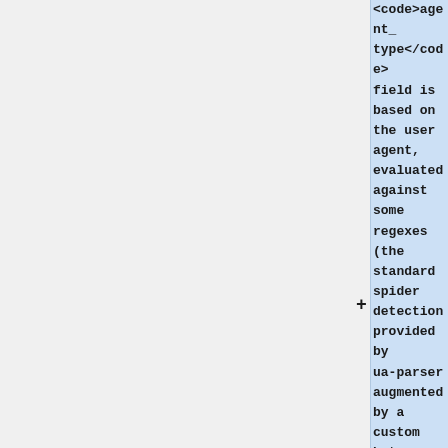<code>agent_type</code> field is based on the user agent, evaluated against some regexes (the standard spider detection provided by ua-parser augmented by a custom bot regex, see [https://github.com/wiki